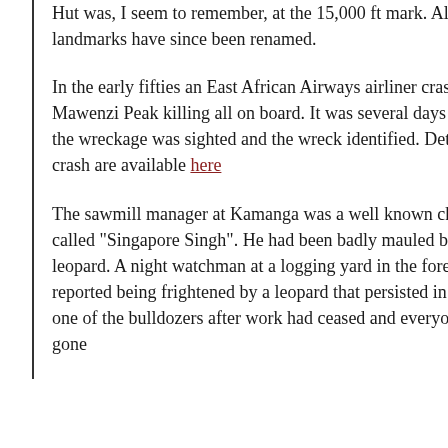Hut was, I seem to remember, at the 15,000 ft mark. All these landmarks have since been renamed.
In the early fifties an East African Airways airliner crashed into Mawenzi Peak killing all on board. It was several days before the wreckage was sighted and the wreck identified. Details of the crash are available here
The sawmill manager at Kamanga was a well known character called "Singapore Singh". He had been badly mauled by a leopard. A night watchman at a logging yard in the forest reported being frightened by a leopard that persisted in lying on one of the bulldozers after work had ceased and everyone had gone